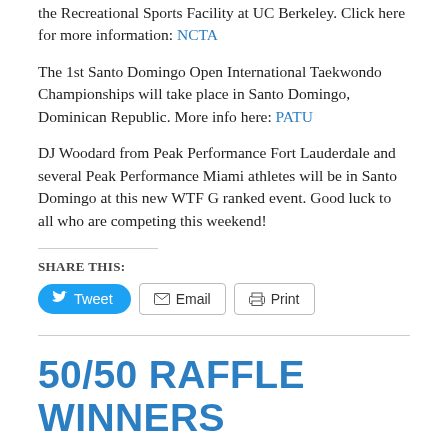the Recreational Sports Facility at UC Berkeley. Click here for more information: NCTA
The 1st Santo Domingo Open International Taekwondo Championships will take place in Santo Domingo, Dominican Republic. More info here: PATU
DJ Woodard from Peak Performance Fort Lauderdale and several Peak Performance Miami athletes will be in Santo Domingo at this new WTF G ranked event. Good luck to all who are competing this weekend!
SHARE THIS:
[Figure (screenshot): Social share buttons: Tweet (blue pill button), Email (outlined button), Print (outlined button)]
50/50 RAFFLE WINNERS
April 3, 2014 / Peak Performance TKD / Make A Comment / News